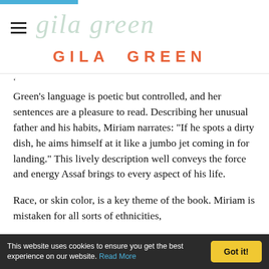Gila Green — GILA GREEN (website header/logo)
Green's language is poetic but controlled, and her sentences are a pleasure to read. Describing her unusual father and his habits, Miriam narrates: "If he spots a dirty dish, he aims himself at it like a jumbo jet coming in for landing." This lively description well conveys the force and energy Assaf brings to every aspect of his life.
Race, or skin color, is a key theme of the book. Miriam is mistaken for all sorts of ethnicities,
This website uses cookies to ensure you get the best experience on our website. Read More   Got it!